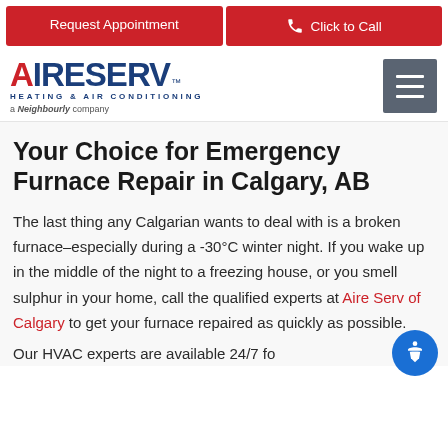Request Appointment | Click to Call
[Figure (logo): Aire Serv Heating & Air Conditioning, a Neighbourly company logo with red A and blue IRESERV text]
Your Choice for Emergency Furnace Repair in Calgary, AB
The last thing any Calgarian wants to deal with is a broken furnace–especially during a -30°C winter night. If you wake up in the middle of the night to a freezing house, or you smell sulphur in your home, call the qualified experts at Aire Serv of Calgary to get your furnace repaired as quickly as possible.
Our HVAC experts are available 24/7 for...